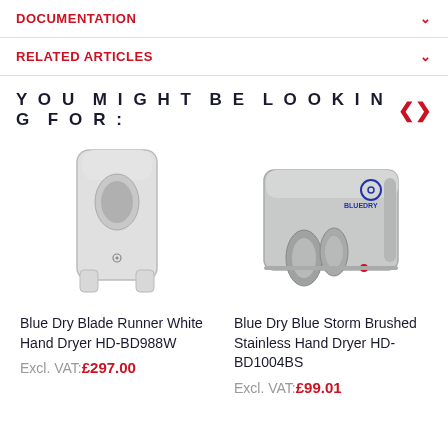DOCUMENTATION
RELATED ARTICLES
YOU MIGHT BE LOOKING FOR:
[Figure (photo): White hand dryer - Blue Dry Blade Runner White Hand Dryer HD-BD988W]
Blue Dry Blade Runner White Hand Dryer HD-BD988W
Excl. VAT: £297.00
[Figure (photo): Brushed stainless steel hand dryer - Blue Dry Blue Storm Brushed Stainless Hand Dryer HD-BD1004BS]
Blue Dry Blue Storm Brushed Stainless Hand Dryer HD-BD1004BS
Excl. VAT: £99.01